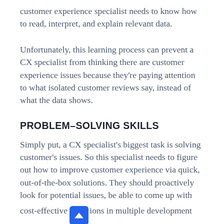customer experience specialist needs to know how to read, interpret, and explain relevant data.
Unfortunately, this learning process can prevent a CX specialist from thinking there are customer experience issues because they're paying attention to what isolated customer reviews say, instead of what the data shows.
PROBLEM–SOLVING SKILLS
Simply put, a CX specialist's biggest task is solving customer's issues. So this specialist needs to figure out how to improve customer experience via quick, out-of-the-box solutions. They should proactively look for potential issues, be able to come up with cost-effective solutions in multiple development stages and figure out improvement opportunities (even when there aren't